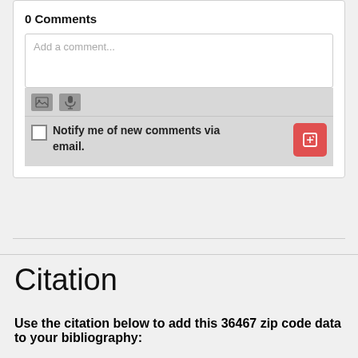0 Comments
[Figure (screenshot): Comment input form with text area showing placeholder 'Add a comment...', toolbar with image and microphone icons, checkbox for email notification, and red submit button with edit icon]
Citation
Use the citation below to add this 36467 zip code data to your bibliography: